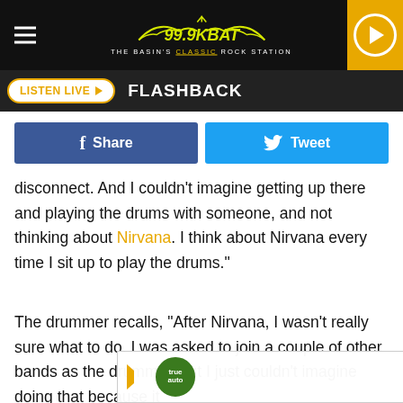99.9 KBAT — The Basin's Classic Rock Station
LISTEN LIVE ▶   FLASHBACK
[Figure (screenshot): Facebook Share button (blue) and Twitter Tweet button (cyan)]
disconnect. And I couldn't imagine getting up there and playing the drums with someone, and not thinking about Nirvana. I think about Nirvana every time I sit up to play the drums."
The drummer recalls, "After Nirvana, I wasn't really sure what to do. I was asked to join a couple of other bands as the drummer, but I just couldn't imagine doing that because it would [...]ld Classic[...]played